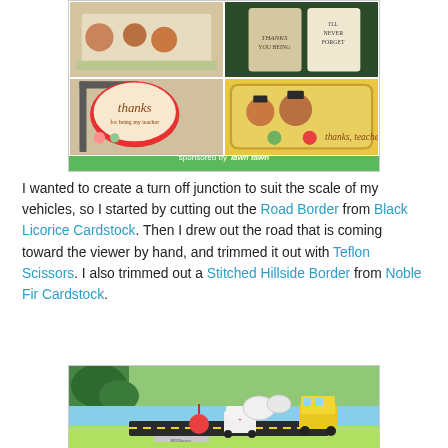[Figure (photo): Collage of craft cards with owls and teacher-themed designs sponsored by Lawn Fawn, featuring 'thanks for being my teacher' and 'thanks teacher' cards with illustrated owls in graduation caps, shown on a green grass background.]
I wanted to create a turn off junction to suit the scale of my vehicles, so I started by cutting out the Road Border from Black Licorice Cardstock. Then I drew out the road that is coming toward the viewer by hand, and trimmed it out with Teflon Scissors. I also trimmed out a Stitched Hillside Border from Noble Fir Cardstock.
[Figure (photo): Craft card scene showing a road with a school bus, ambulance, and green hills cut from cardstock, with green plant leaves visible in the upper left corner.]